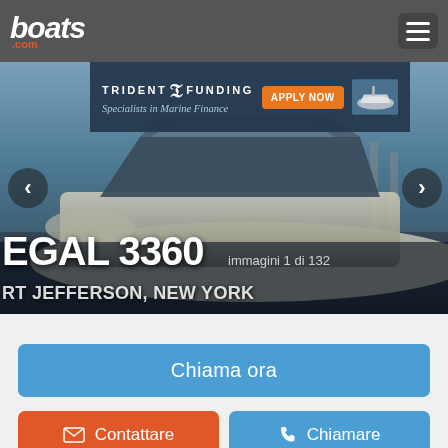boats.com
[Figure (screenshot): Mobile screenshot of boats.com listing page showing a Regal 3360 motorboat at Port Jefferson, New York. Ad banner for Trident Funding visible at top of image. Navigation arrows on sides. Image counter shows 'immagini 1 di 132'.]
Chiama ora
Contattare
Chiamare